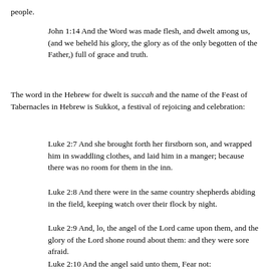people.
John 1:14 And the Word was made flesh, and dwelt among us, (and we beheld his glory, the glory as of the only begotten of the Father,) full of grace and truth.
The word in the Hebrew for dwelt is succah and the name of the Feast of Tabernacles in Hebrew is Sukkot, a festival of rejoicing and celebration:
Luke 2:7 And she brought forth her firstborn son, and wrapped him in swaddling clothes, and laid him in a manger; because there was no room for them in the inn.
Luke 2:8 And there were in the same country shepherds abiding in the field, keeping watch over their flock by night.
Luke 2:9 And, lo, the angel of the Lord came upon them, and the glory of the Lord shone round about them: and they were sore afraid.
Luke 2:10 And the angel said unto them, Fear not: